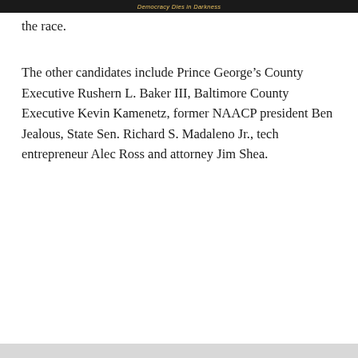Democracy Dies in Darkness
the race.
The other candidates include Prince George's County Executive Rushern L. Baker III, Baltimore County Executive Kevin Kamenetz, former NAACP president Ben Jealous, State Sen. Richard S. Madaleno Jr., tech entrepreneur Alec Ross and attorney Jim Shea.